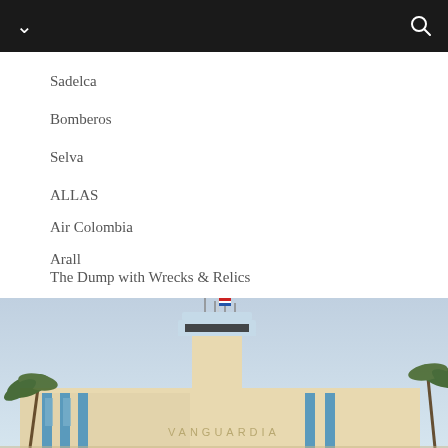navigation bar with chevron and search icon
Sadelca
Bomberos
Selva
ALLAS
Air Colombia
Arall
The Dump with Wrecks & Relics
[Figure (photo): Photograph of the Vanguardia airport terminal building with a control tower, blue pillars, palm trees in the foreground, and 'VANGUARDIA' text on the facade]